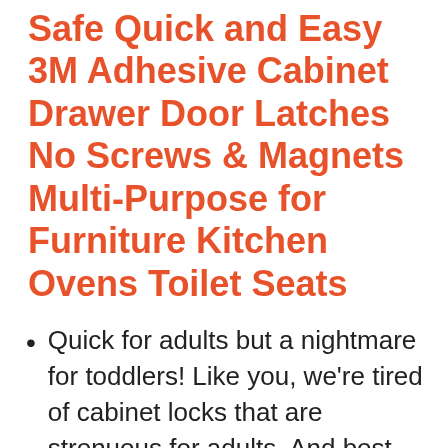Safe Quick and Easy 3M Adhesive Cabinet Drawer Door Latches No Screws & Magnets Multi-Purpose for Furniture Kitchen Ovens Toilet Seats
Quick for adults but a nightmare for toddlers! Like you, we're tired of cabinet locks that are strenuous for adults. And best thing is installation takes seconds!
Skyla a known brand that strives to provide value. Rest assured we took